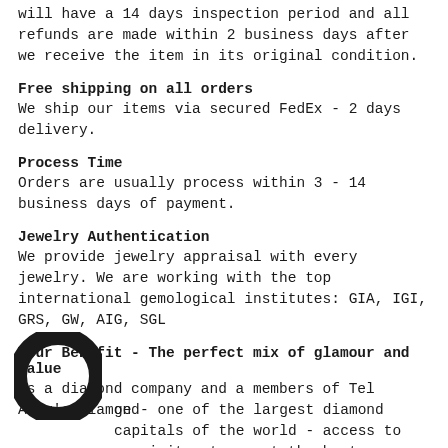will have a 14 days inspection period and all refunds are made within 2 business days after we receive the item in its original condition.
Free shipping on all orders
We ship our items via secured FedEx - 2 days delivery.
Process Time
Orders are usually process within 3 - 14 business days of payment.
Jewelry Authentication
We provide jewelry appraisal with every jewelry. We are working with the top international gemological institutes: GIA, IGI, GRS, GW, AIG, SGL
Your Benefit - The perfect mix of glamour and value
[Figure (logo): Circular logo with dark ring shape]
As a diamond company and a members of Tel Aviv's Diamond ge - one of the largest diamond capitals of the world - access to exquisite stones at the best possible p - offering you the perfect mix of glamour and value. All of our jewelry is manufactured in Israel, in fair trade, by top